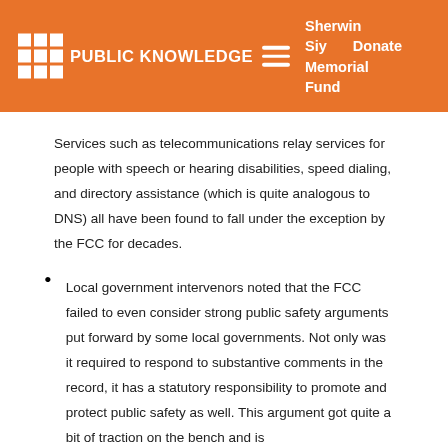PUBLIC KNOWLEDGE | Sherwin Siy Memorial Fund | Donate
Services such as telecommunications relay services for people with speech or hearing disabilities, speed dialing, and directory assistance (which is quite analogous to DNS) all have been found to fall under the exception by the FCC for decades.
Local government intervenors noted that the FCC failed to even consider strong public safety arguments put forward by some local governments. Not only was it required to respond to substantive comments in the record, it has a statutory responsibility to promote and protect public safety as well. This argument got quite a bit of traction on the bench and is